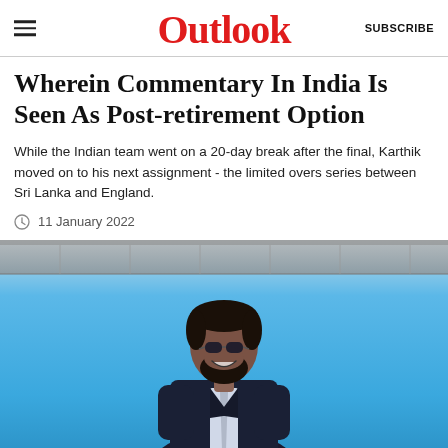Outlook | SUBSCRIBE
Wherein Commentary In India Is Seen As Post-retirement Option
While the Indian team went on a 20-day break after the final, Karthik moved on to his next assignment - the limited overs series between Sri Lanka and England.
11 January 2022
[Figure (photo): A man wearing sunglasses and a dark suit smiling at a cricket stadium with a blue sky background]